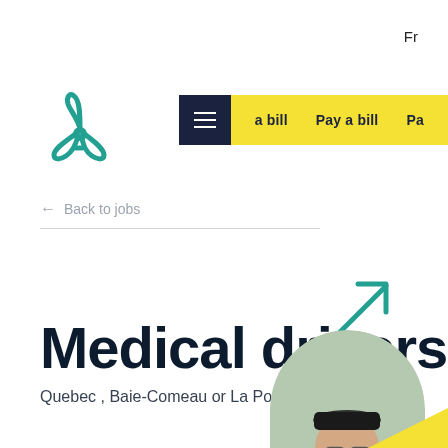Fr
[Figure (screenshot): Navigation bar with hamburger menu icon on dark navy background and yellow bar with links: a bill, Pay a bill, Pa...]
[Figure (logo): Teal three-pronged propeller/pinwheel logo]
← Back to jobs
[Figure (other): Teal diagonal arrow pointing upper-right]
Medical drivers
Quebec , Baie-Comeau or La Pocatière
[Figure (photo): Young man wearing glasses and a dark cap, smiling, dressed in a light blue shirt, cropped in an arch/rounded rectangle shape]